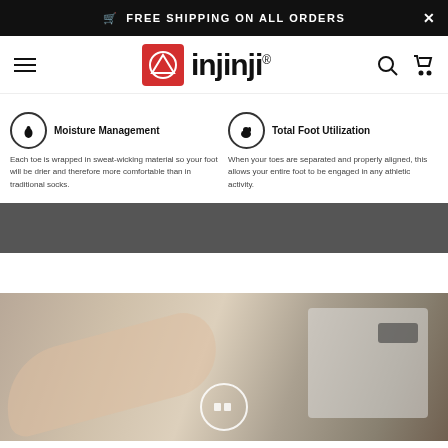FREE SHIPPING ON ALL ORDERS
[Figure (logo): Injinji brand logo with red square icon and black text]
Moisture Management
Each toe is wrapped in sweat-wicking material so your foot will be drier and therefore more comfortable than in traditional socks.
Total Foot Utilization
When your toes are separated and properly aligned, this allows your entire foot to be engaged in any athletic activity.
[Figure (photo): Dark gray banner/bar section]
[Figure (photo): Photo of a hand pressing a button on a washing machine control panel]